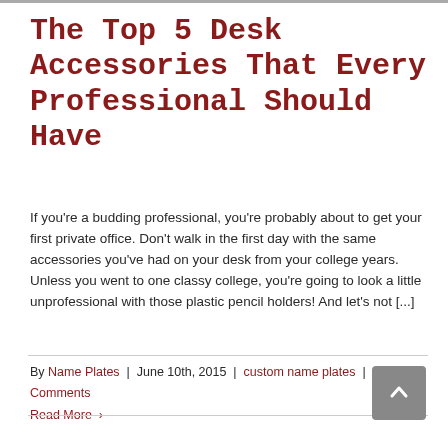The Top 5 Desk Accessories That Every Professional Should Have
If you're a budding professional, you're probably about to get your first private office. Don't walk in the first day with the same accessories you've had on your desk from your college years. Unless you went to one classy college, you're going to look a little unprofessional with those plastic pencil holders! And let's not [...]
By Name Plates | June 10th, 2015 | custom name plates | 0 Comments Read More >